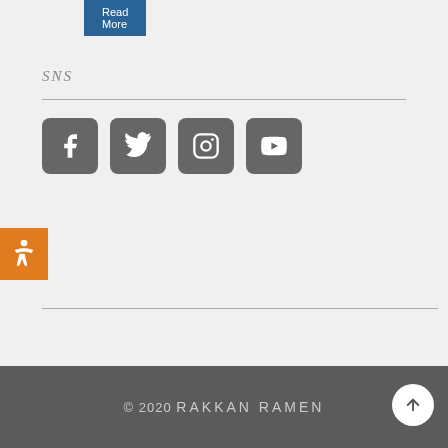[Figure (screenshot): Read More button (teal/dark blue)]
SNS
[Figure (infographic): Social media icons: Facebook, Twitter, Instagram, YouTube — dark grey rounded squares]
[Figure (illustration): Accessibility icon on orange square background]
[Figure (screenshot): Gift Card Balance button (dark blue)]
© 2020 RAKKAN RAMEN